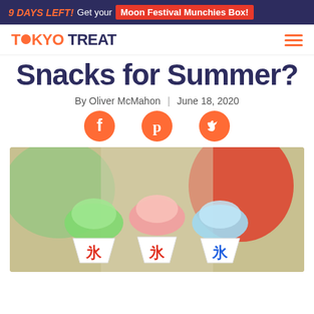9 DAYS LEFT! Get your Moon Festival Munchies Box!
TOKYO TREAT
Snacks for Summer?
By Oliver McMahon | June 18, 2020
[Figure (illustration): Three social media icons: Facebook, Pinterest, Twitter in orange]
[Figure (photo): Three shaved ice (kakigori) cups with green, pink, and blue ice toppings, with snowflake logos on the cups, colorful background]